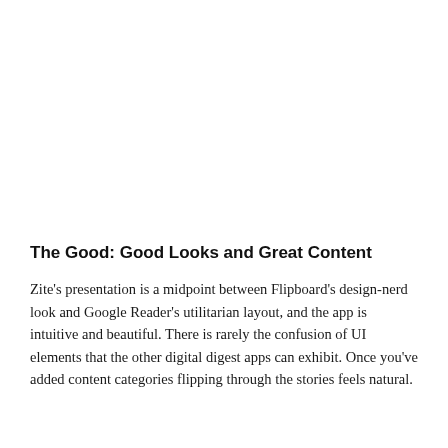The Good: Good Looks and Great Content
Zite's presentation is a midpoint between Flipboard's design-nerd look and Google Reader's utilitarian layout, and the app is intuitive and beautiful. There is rarely the confusion of UI elements that the other digital digest apps can exhibit. Once you've added content categories flipping through the stories feels natural.